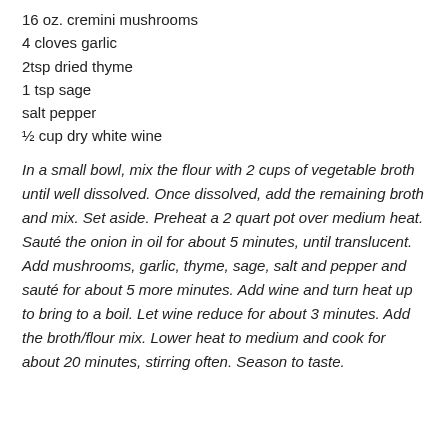16 oz. cremini mushrooms
4 cloves garlic
2tsp dried thyme
1 tsp sage
salt pepper
½ cup dry white wine
In a small bowl, mix the flour with 2 cups of vegetable broth until well dissolved. Once dissolved, add the remaining broth and mix. Set aside. Preheat a 2 quart pot over medium heat. Sauté the onion in oil for about 5 minutes, until translucent. Add mushrooms, garlic, thyme, sage, salt and pepper and sauté for about 5 more minutes. Add wine and turn heat up to bring to a boil. Let wine reduce for about 3 minutes. Add the broth/flour mix. Lower heat to medium and cook for about 20 minutes, stirring often. Season to taste.